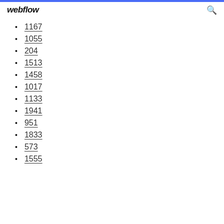webflow
1167
1055
204
1513
1458
1017
1133
1941
951
1833
573
1555